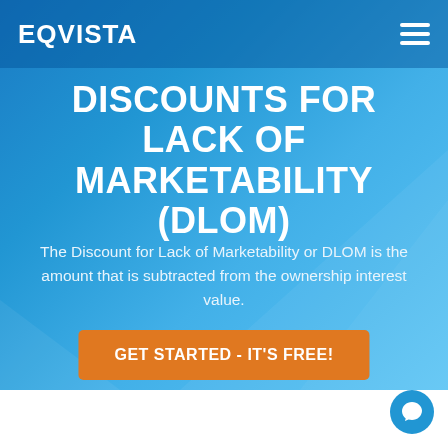EQVISTA
DISCOUNTS FOR LACK OF MARKETABILITY (DLOM)
The Discount for Lack of Marketability or DLOM is the amount that is subtracted from the ownership interest value.
[Figure (other): Orange CTA button reading GET STARTED - IT'S FREE!]